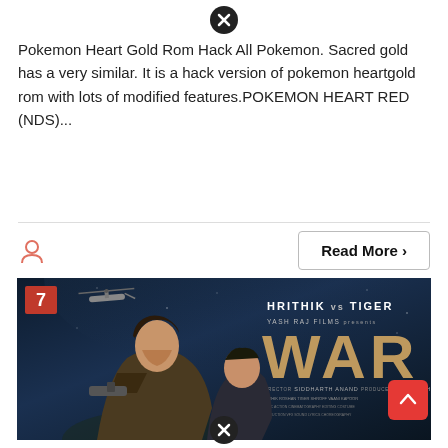[Figure (other): Close/dismiss button (X icon) at top center of card]
Pokemon Heart Gold Rom Hack All Pokemon. Sacred gold has a very similar. It is a hack version of pokemon heartgold rom with lots of modified features.POKEMON HEART RED (NDS)...
[Figure (other): User/person icon (salmon/coral colored outline icon)]
Read More >
[Figure (photo): WAR movie poster featuring Hrithik vs Tiger, Yash Raj Films presents WAR. Director Siddharth Anand, Producer Aditya Chopra. Two actors in action poses with weapons, helicopter in background.]
[Figure (other): Close/dismiss button (X icon) at bottom center of movie card]